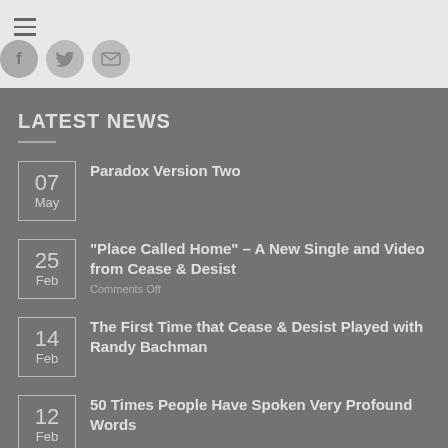Hamburger menu and social icons (Facebook, Twitter, Email)
LATEST NEWS
07 May – Paradox Version Two
25 Feb – "Place Called Home" – A New Single and Video from Cease & Desist | Comments Off
14 Feb – The First Time that Cease & Desist Played with Randy Bachman
12 Feb – 50 Times People Have Spoken Very Profound Words